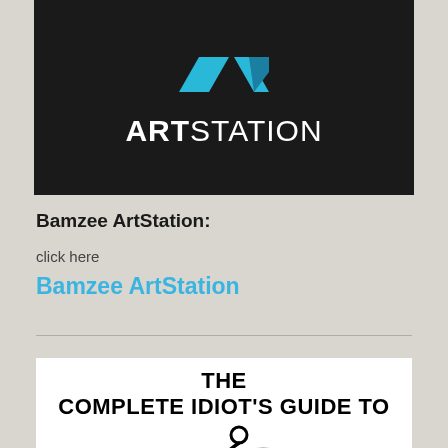[Figure (logo): ArtStation logo on black background with blue chevron/arrow icon above white text reading ART in bold and STATION in regular weight]
Bamzee ArtStation:
click here
Bamzee ArtStation
[Figure (illustration): Book cover image showing 'THE COMPLETE IDIOT'S GUIDE TO' in bold black text with a stylized figure drawing below, and partial text 'ERRUSH' at the bottom]